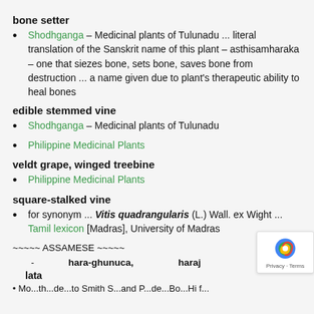bone setter
Shodhganga – Medicinal plants of Tulunadu ... literal translation of the Sanskrit name of this plant – asthisamharaka – one that siezes bone, sets bone, saves bone from destruction ... a name given due to plant's therapeutic ability to heal bones
edible stemmed vine
Shodhganga – Medicinal plants of Tulunadu
Philippine Medicinal Plants
veldt grape, winged treebine
Philippine Medicinal Plants
square-stalked vine
for synonym ... Vitis quadrangularis (L.) Wall. ex Wight ... Tamil lexicon [Madras], University of Madras
~~~~~ ASSAMESE ~~~~~
- hara-ghunuca, haraj lata
• Mo...th...de...to Smith S...and P...de...Bo...Hi f...